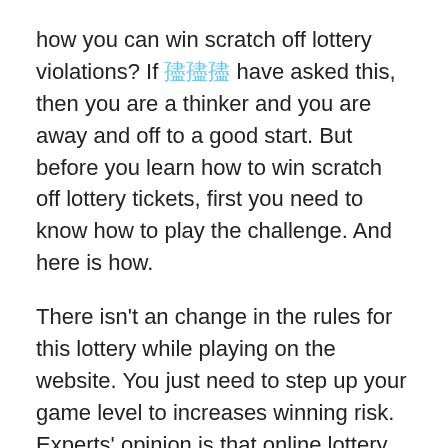how you can win scratch off lottery violations? If [link] have asked this, then you are a thinker and you are away and off to a good start. But before you learn how to win scratch off lottery tickets, first you need to know how to play the challenge. And here is how.
There isn't an change in the rules for this lottery while playing on the website. You just need to step up your game level to increases winning risk. Experts' opinion is that online lottery now is easier to play and remembering few things can lead you to choose ideal numbers. Overall winning combination sum in online lottery combination ranges from 121 to 186 points. May very in order to understand play online lottery at home, or anywhere such as. All you might want to do would be to choose an exceptional combination that adds up outcomes in a number that ranges in the said range.
One thing that mustn't ignore is the fact plenty of